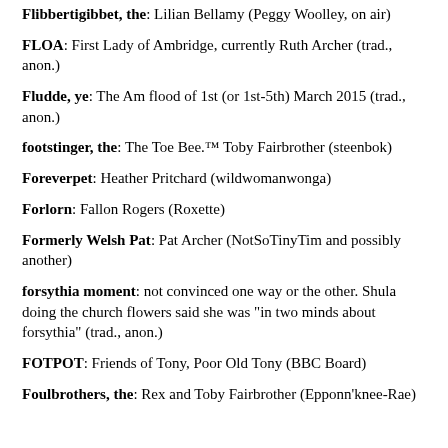Flibbertigibbet, the: Lilian Bellamy (Peggy Woolley, on air)
FLOA: First Lady of Ambridge, currently Ruth Archer (trad., anon.)
Fludde, ye: The Am flood of 1st (or 1st-5th) March 2015 (trad., anon.)
footstinger, the: The Toe Bee.™ Toby Fairbrother (steenbok)
Foreverpet: Heather Pritchard (wildwomanwonga)
Forlorn: Fallon Rogers (Roxette)
Formerly Welsh Pat: Pat Archer (NotSoTinyTim and possibly another)
forsythia moment: not convinced one way or the other. Shula doing the church flowers said she was "in two minds about forsythia" (trad., anon.)
FOTPOT: Friends of Tony, Poor Old Tony (BBC Board)
Foulbrothers, the: Rex and Toby Fairbrother (Epponn'knee-Rae)